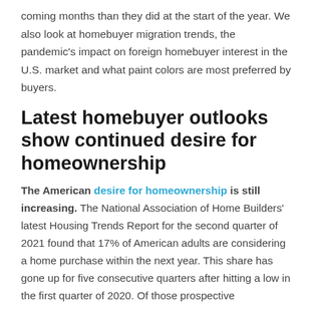coming months than they did at the start of the year. We also look at homebuyer migration trends, the pandemic's impact on foreign homebuyer interest in the U.S. market and what paint colors are most preferred by buyers.
Latest homebuyer outlooks show continued desire for homeownership
The American desire for homeownership is still increasing. The National Association of Home Builders' latest Housing Trends Report for the second quarter of 2021 found that 17% of American adults are considering a home purchase within the next year. This share has gone up for five consecutive quarters after hitting a low in the first quarter of 2020. Of those prospective buyers...